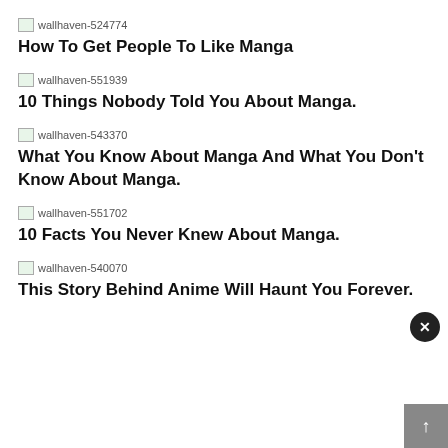[Figure (other): Broken image placeholder labeled wallhaven-524774]
How To Get People To Like Manga
[Figure (other): Broken image placeholder labeled wallhaven-551939]
10 Things Nobody Told You About Manga.
[Figure (other): Broken image placeholder labeled wallhaven-543370]
What You Know About Manga And What You Don't Know About Manga.
[Figure (other): Broken image placeholder labeled wallhaven-551702]
10 Facts You Never Knew About Manga.
[Figure (other): Broken image placeholder labeled wallhaven-540070]
This Story Behind Anime Will Haunt You Forever.